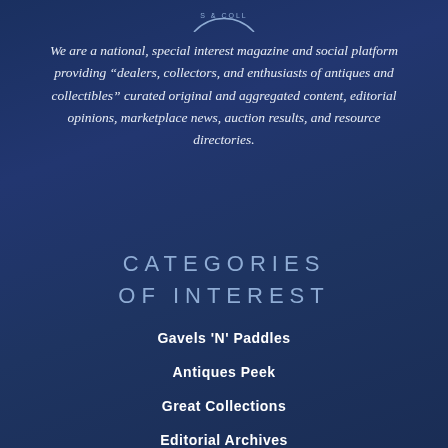[Figure (logo): Partial circular badge/seal logo at top center, showing text 'S & COLL']
We are a national, special interest magazine and social platform providing “dealers, collectors, and enthusiasts of antiques and collectibles” curated original and aggregated content, editorial opinions, marketplace news, auction results, and resource directories.
CATEGORIES OF INTEREST
Gavels 'N' Paddles
Antiques Peek
Great Collections
Editorial Archives